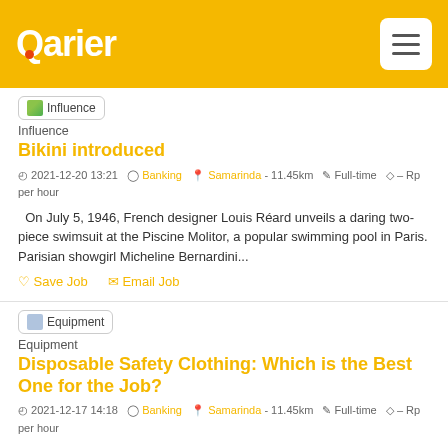Qarier
[Figure (screenshot): Influence category tag with small green icon]
Influence
Bikini introduced
2021-12-20 13:21  Banking  Samarinda - 11.45km  Full-time  – Rp per hour
On July 5, 1946, French designer Louis Réard unveils a daring two-piece swimsuit at the Piscine Molitor, a popular swimming pool in Paris. Parisian showgirl Micheline Bernardini...
Save Job  Email Job
[Figure (screenshot): Equipment category tag with small image icon]
Equipment
Disposable Safety Clothing: Which is the Best One for the Job?
2021-12-17 14:18  Banking  Samarinda - 11.45km  Full-time  – Rp per hour
The staple of protective Disposable Clothing is The Type 5 & 6 coverall, alternatively known as "disposable", "single-use" or